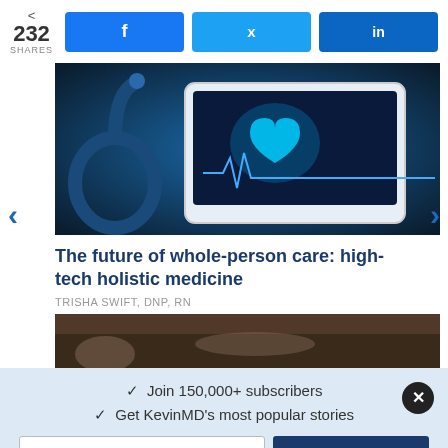232 SHARES
[Figure (screenshot): Facebook, Twitter, LinkedIn share buttons in blue]
[Figure (photo): Tablet showing a glowing heart graphic with a stethoscope beside it on a desk]
The future of whole-person care: high-tech holistic medicine
TRISHA SWIFT, DNP, RN
[Figure (photo): Partial image of a medical instrument on a wooden surface]
✓  Join 150,000+ subscribers
✓  Get KevinMD's most popular stories
Subscribe. It's free.